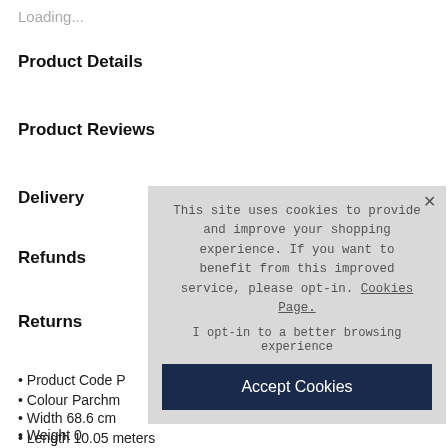Loading...
Product Details
Product Reviews
Delivery
Refunds
Returns
• Product Code P...
• Colour Parchm...
• Width 68.6 cm
• Weight 0
• Length 10.05 meters
This site uses cookies to provide and improve your shopping experience. If you want to benefit from this improved service, please opt-in. Cookies Page.

I opt-in to a better browsing experience

Accept Cookies